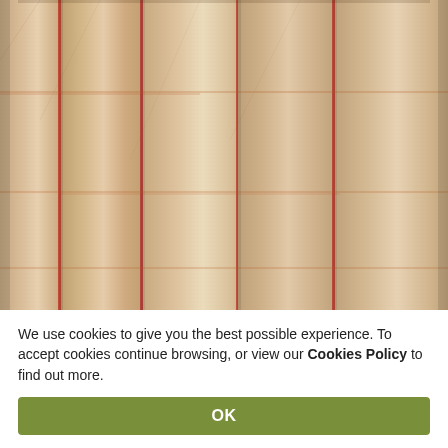[Figure (photo): Close-up photograph of beige/tan woven fabric curtains with vertical red/terracotta stripe pattern and subtle horizontal lines, gathered into soft folds]
We use cookies to give you the best possible experience. To accept cookies continue browsing, or view our Cookies Policy to find out more.